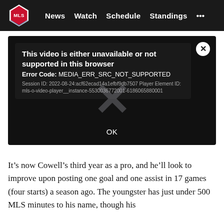MLS | News  Watch  Schedule  Standings  ...
[Figure (screenshot): Video player error dialog on black background. Title: 'This video is either unavailable or not supported in this browser'. Error Code: MEDIA_ERR_SRC_NOT_SUPPORTED. Session ID: 2022-08-24:acf62ecad14a1efbf9db7507 Player Element ID: mls-o-video-player__instance-5530036772001-6186065880001. Large X watermark in center. OK button at bottom.]
It’s now Cowell’s third year as a pro, and he’ll look to improve upon posting one goal and one assist in 17 games (four starts) a season ago. The youngster has just under 500 MLS minutes to his name, though his